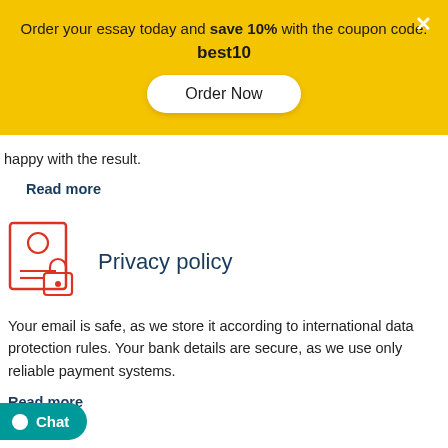Order your essay today and save 10% with the coupon code: best10
Order Now
happy with the result.
Read more
[Figure (illustration): Icon showing a document with a person and a padlock — representing privacy/security]
Privacy policy
Your email is safe, as we store it according to international data protection rules. Your bank details are secure, as we use only reliable payment systems.
Read more
Chat